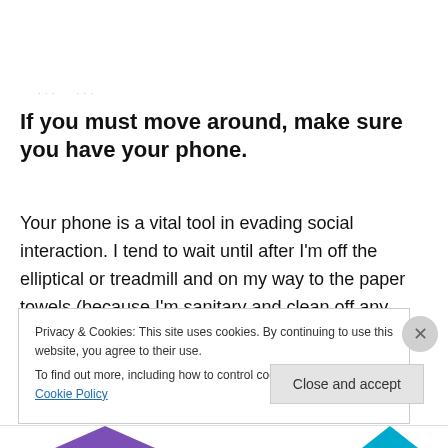· · ·
If you must move around, make sure you have your phone.
Your phone is a vital tool in evading social interaction. I tend to wait until after I'm off the elliptical or treadmill and on my way to the paper towels (because I'm sanitary and clean off any machine I touch) before I tell MyFitnessPal how many calories I've burned so that I can avoid looking
Privacy & Cookies: This site uses cookies. By continuing to use this website, you agree to their use.
To find out more, including how to control cookies, see here: Cookie Policy
Close and accept